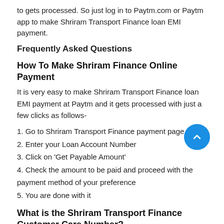to gets processed. So just log in to Paytm.com or Paytm app to make Shriram Transport Finance loan EMI payment.
Frequently Asked Questions
How To Make Shriram Finance Online Payment
It is very easy to make Shriram Transport Finance loan EMI payment at Paytm and it gets processed with just a few clicks as follows-
1. Go to Shriram Transport Finance payment page
2. Enter your Loan Account Number
3. Click on ‘Get Payable Amount’
4. Check the amount to be paid and proceed with the payment method of your preference
5. You are done with it
What is the Shriram Transport Finance Customer Care Number?
You can easily get in touch with the Shriram Transport Finance customer care executive by dialling the toll-free number +1800-103-4959.